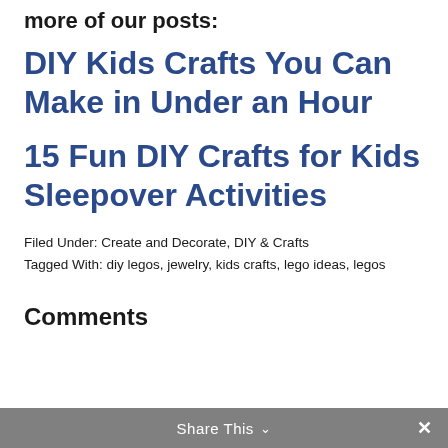more of our posts:
DIY Kids Crafts You Can Make in Under an Hour
15 Fun DIY Crafts for Kids Sleepover Activities
Filed Under: Create and Decorate, DIY & Crafts
Tagged With: diy legos, jewelry, kids crafts, lego ideas, legos
Comments
Share This ∨ ✕